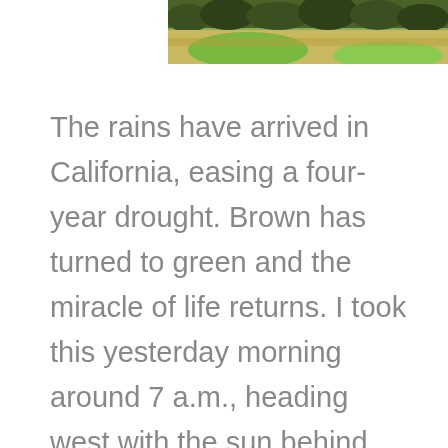[Figure (photo): Partial view of a hillside landscape showing brown dried vegetation and patches of bright green grass after rains, photographed at the top of the page, cropped so only the lower portion is visible.]
The rains have arrived in California, easing a four-year drought.  Brown has turned to green and the miracle of life returns.  I took this yesterday morning around 7 a.m., heading west with the sun behind me.  This is a pano of two images, using the Nikon V1 and 32mm lens.